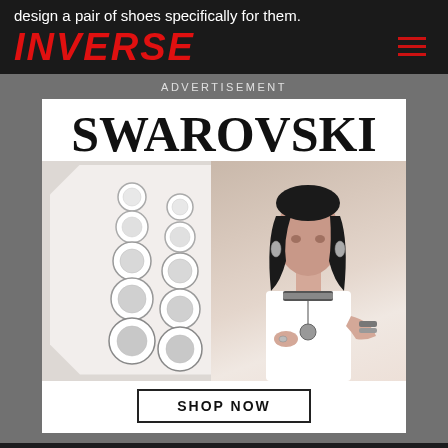design a pair of shoes specifically for them.
INVERSE
ADVERTISEMENT
[Figure (photo): Swarovski advertisement showing crystal earrings on left side and a female model wearing Swarovski jewelry (choker necklace, earrings, rings, bracelets) on right side. Large SWAROVSKI text at top. SHOP NOW button at bottom.]
One thing is certain, though. We still do not fully understand what makes the best running shoe and